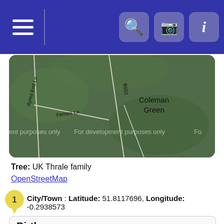[Figure (screenshot): Mobile app navigation bar with hamburger menu icon on left and search, camera, info icons on right, dark blue background]
[Figure (map): Green map tile showing roads: Ayres End Ln, Ferrers Ln, B651, and the place name Coleman Green. Watermark: For development purposes only]
Tree: UK Thrale family
OpenStreetMap
City/Town : Latitude: 51.8117696, Longitude: -0.2938573
Birth
Matches 1 to 39 of 39
|  | Last Name, Given Name(s) | Birth | Per |
| --- | --- | --- | --- |
|  |  | Wheathampstead, |  |